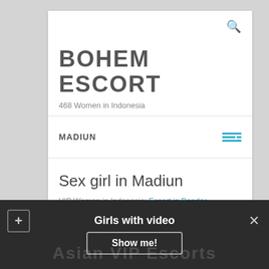BOHEM ESCORT
468 Women in Indonesia
MADIUN
Sex girl in Madiun
VIP Women in Indonesia: Escort in Bandar Lampung, Prostitute in Bogor, Slut in Kediri
Girls with video
Show me!